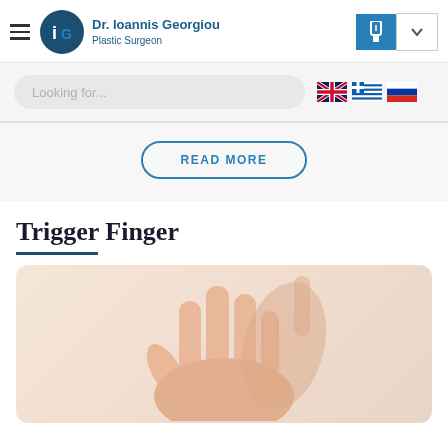Dr. Ioannis Georgiou — Plastic Surgeon
Looking for...
READ MORE
Trigger Finger
[Figure (photo): A hand being held by another hand, showing the palm side, on a white background — illustrating trigger finger condition.]